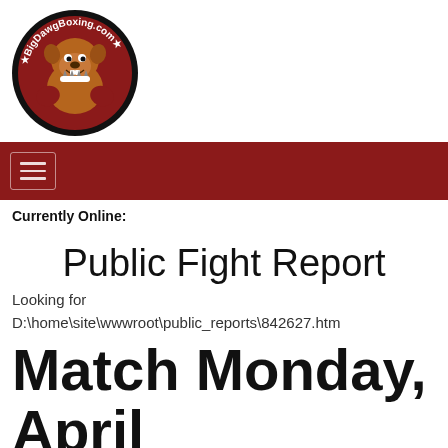[Figure (logo): BigDawgBoxing.com logo — circular badge with a muscular bulldog wearing boxing gloves, red and black color scheme with white text around the border]
[Figure (other): Dark red navigation bar with a hamburger menu icon (three horizontal lines) in a rounded rectangle]
Currently Online:
Public Fight Report
Looking for D:\home\site\wwwroot\public_reports\842627.htm
Match Monday, April 23, 2012